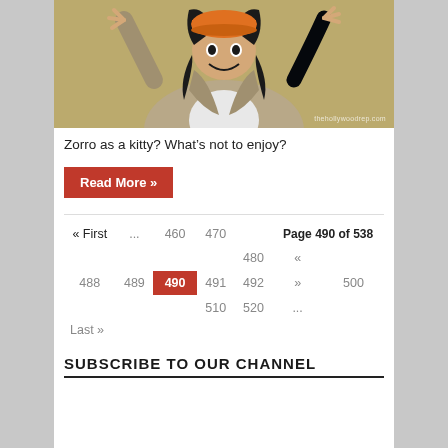[Figure (photo): Man with orange beanie hat, long dark hair, wearing a beige jacket and white shirt, arms raised with hands open, making a surprised/excited expression. Watermark text visible in bottom right of photo.]
Zorro as a kitty? What's not to enjoy?
Read More »
« First ... 460 470 Page 490 of 538 480 « 488 489 490 491 492 » 500 510 520 ... Last »
SUBSCRIBE TO OUR CHANNEL